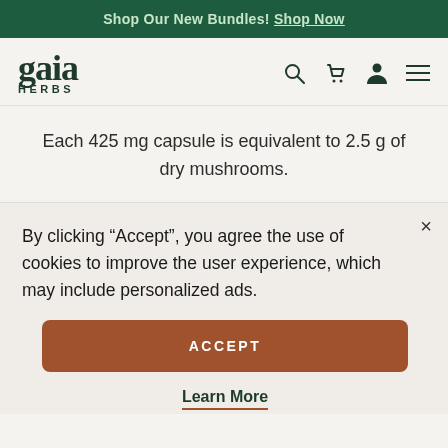Shop Our New Bundles! Shop Now
[Figure (logo): Gaia Herbs logo with stylized 'gaia' in dark green serif font and 'HERBS' in small caps below]
Each 425 mg capsule is equivalent to 2.5 g of dry mushrooms.
By clicking “Accept”, you agree the use of cookies to improve the user experience, which may include personalized ads.
ACCEPT
Learn More